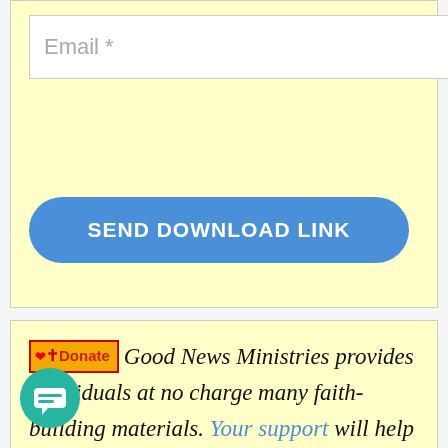Email *
SEND DOWNLOAD LINK
Donate Good News Ministries provides individuals at no charge many faith-building materials. Your support will help keep this ministry going.
[Figure (illustration): Teal circular chat bubble icon at bottom left of page]